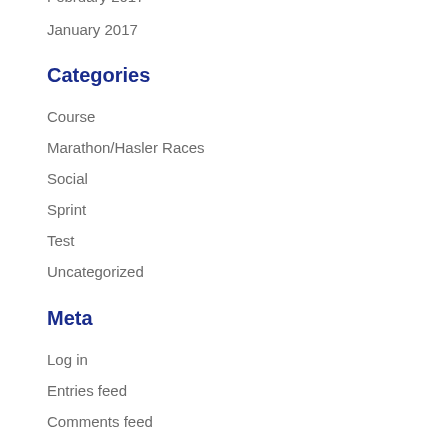February 2017
January 2017
Categories
Course
Marathon/Hasler Races
Social
Sprint
Test
Uncategorized
Meta
Log in
Entries feed
Comments feed